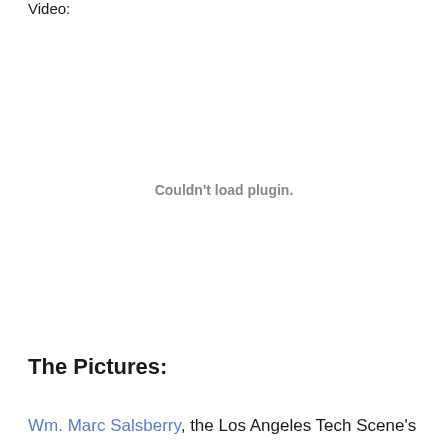Video:
[Figure (other): Embedded video plugin area showing 'Couldn't load plugin.' error message]
The Pictures:
Wm. Marc Salsberry, the Los Angeles Tech Scene's